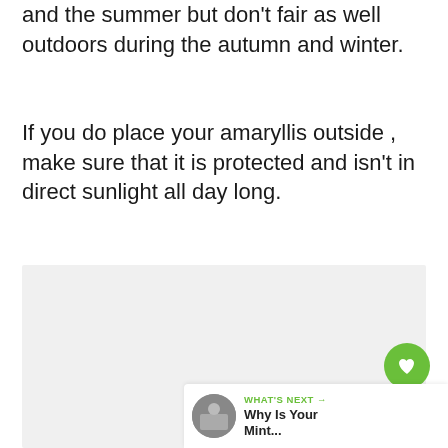and the summer but don't fair as well outdoors during the autumn and winter.
If you do place your amaryllis outside , make sure that it is protected and isn't in direct sunlight all day long.
[Figure (photo): Large light gray placeholder image box occupying the lower portion of the page]